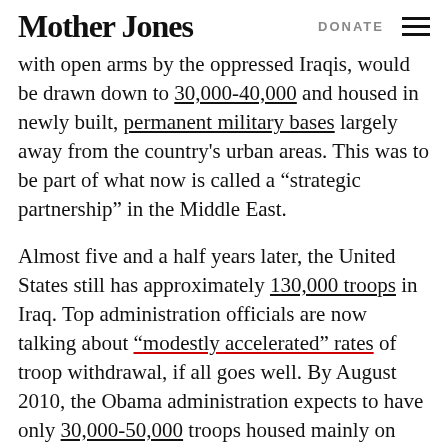Mother Jones | DONATE
with open arms by the oppressed Iraqis, would be drawn down to 30,000-40,000 and housed in newly built, permanent military bases largely away from the country's urban areas. This was to be part of what now is called a “strategic partnership” in the Middle East.
Almost five and a half years later, the United States still has approximately 130,000 troops in Iraq. Top administration officials are now talking about “modestly accelerated” rates of troop withdrawal, if all goes well. By August 2010, the Obama administration expects to have only 30,000-50,000 troops housed mainly on American mega-bases largely away from urban areas, part of a special